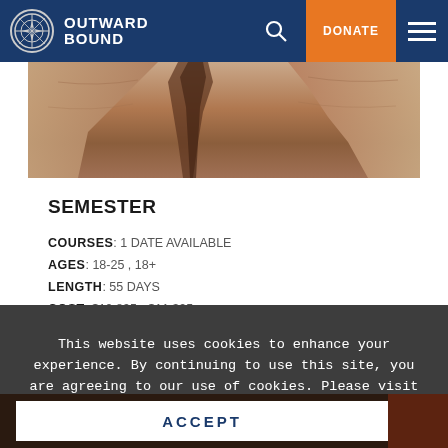OUTWARD BOUND
[Figure (photo): Canyon rock walls photo, warm tan and brown tones]
SEMESTER
COURSES: 1 DATE AVAILABLE
AGES: 18-25 , 18+
LENGTH: 55 DAYS
COST: $10,895 - $11,395
This website uses cookies to enhance your experience. By continuing to use this site, you are agreeing to our use of cookies. Please visit our Privacy Policy to learn more.
ACCEPT